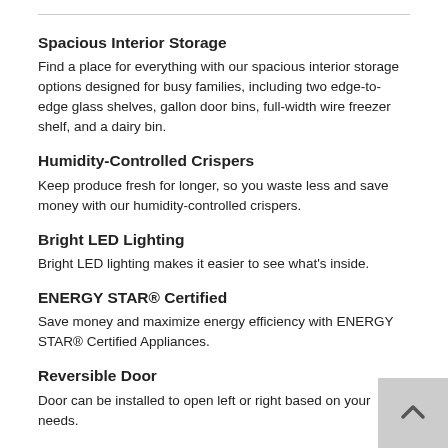Spacious Interior Storage
Find a place for everything with our spacious interior storage options designed for busy families, including two edge-to-edge glass shelves, gallon door bins, full-width wire freezer shelf, and a dairy bin.
Humidity-Controlled Crispers
Keep produce fresh for longer, so you waste less and save money with our humidity-controlled crispers.
Bright LED Lighting
Bright LED lighting makes it easier to see what's inside.
ENERGY STAR® Certified
Save money and maximize energy efficiency with ENERGY STAR® Certified Appliances.
Reversible Door
Door can be installed to open left or right based on your needs.